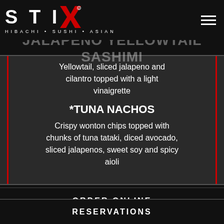[Figure (logo): STIX Hibachi Sushi Asian restaurant logo with stylized X in red]
JALAPENO YELLOWTAIL SASHIMI
Yellowtail, sliced jalapeno and cilantro topped with a light vinaigrette
*TUNA NACHOS
Crispy wonton chips topped with chunks of tuna tataki, diced avocado, sliced jalapenos, sweet soy and spicy aioli
ORDER ONLINE
RESERVATIONS